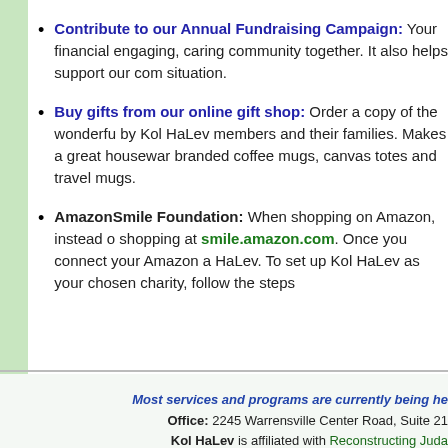Contribute to our Annual Fundraising Campaign: Your financial engaging, caring community together. It also helps support our com situation.
Buy gifts from our online gift shop: Order a copy of the wonderfu by Kol HaLev members and their families. Makes a great housewar branded coffee mugs, canvas totes and travel mugs.
AmazonSmile Foundation: When shopping on Amazon, instead o shopping at smile.amazon.com. Once you connect your Amazon a HaLev. To set up Kol HaLev as your chosen charity, follow the steps
Most services and programs are currently being he
Office: 2245 Warrensville Center Road, Suite 21
Kol HaLev is affiliated with Reconstructing Juda